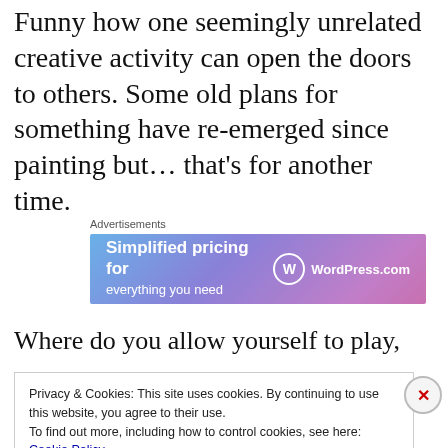Funny how one seemingly unrelated creative activity can open the doors to others. Some old plans for something have re-emerged since painting but… that's for another time.
[Figure (other): WordPress.com advertisement banner with gradient blue-purple background. Text reads 'Simplified pricing for everything you need' with WordPress.com logo on the right.]
Where do you allow yourself to play,
Privacy & Cookies: This site uses cookies. By continuing to use this website, you agree to their use.
To find out more, including how to control cookies, see here: Cookie Policy